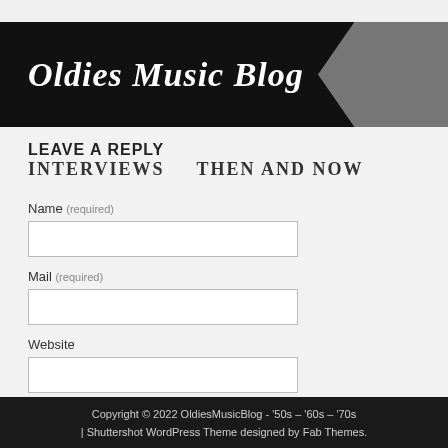Oldies Music Blog
LEAVE A REPLY
INTERVIEWS    THEN AND NOW
Name (required)
Mail (required)
Website
Copyright © 2022 OldiesMusicBlog - '50s – '60s – '70s | Shuttershot WordPress Theme designed by Fab Themes.